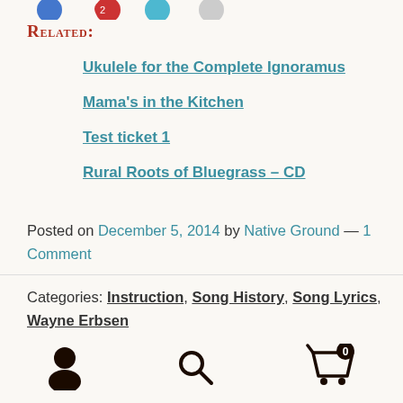Related:
Ukulele for the Complete Ignoramus
Mama's in the Kitchen
Test ticket 1
Rural Roots of Bluegrass – CD
Posted on December 5, 2014 by Native Ground — 1 Comment
Categories: Instruction, Song History, Song Lyrics, Wayne Erbsen